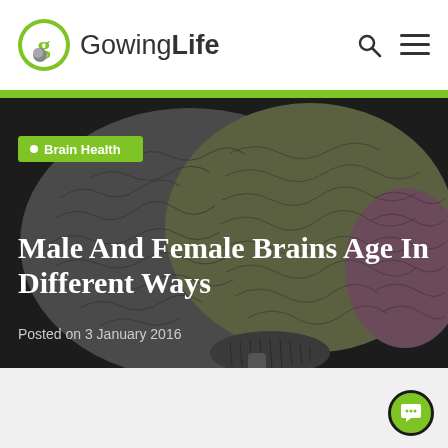Gowing Life
[Figure (illustration): Illustrated brain divided into colored lobes — grey, olive green, and dark mauve/purple — on a dark background, shown in side profile view]
Brain Health
Male And Female Brains Age In Different Ways
Posted on 3 January 2016